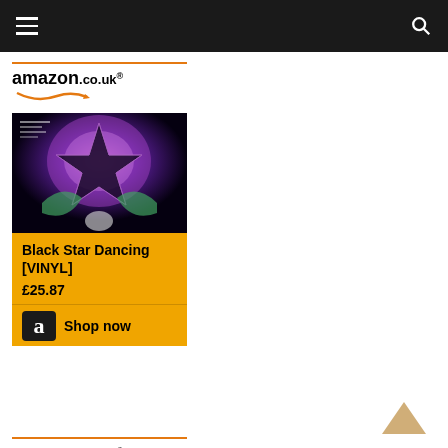Navigation bar with hamburger menu and search icon
[Figure (screenshot): Amazon.co.uk ad card showing Black Star Dancing [VINYL] at £25.87 with Shop now button]
[Figure (screenshot): Amazon.co.uk ad card showing The Stone Roses product image]